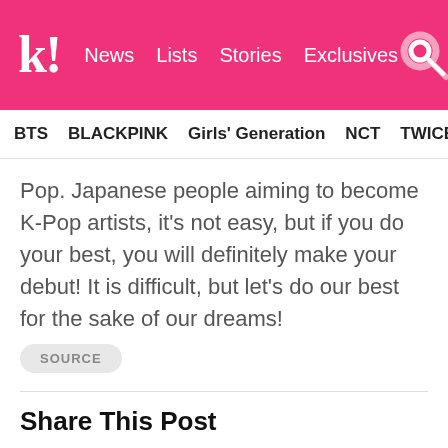k! News Lists Stories Exclusives
BTS BLACKPINK Girls' Generation NCT TWICE aespa
Pop. Japanese people aiming to become K-Pop artists, it's not easy, but if you do your best, you will definitely make your debut! It is difficult, but let's do our best for the sake of our dreams!
SOURCE
Share This Post
Facebook
Twitter